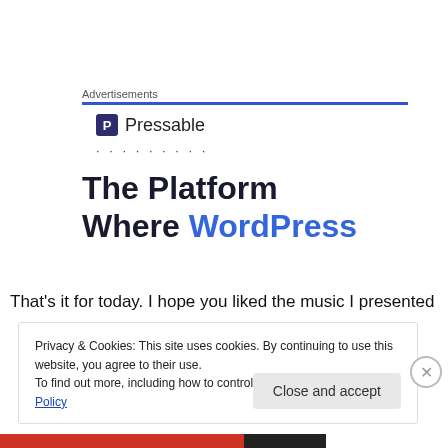Advertisements
[Figure (logo): Pressable logo with blue P icon and 'Pressable' text, followed by dotted line]
The Platform Where WordPress
That's it for today. I hope you liked the music I presented
Privacy & Cookies: This site uses cookies. By continuing to use this website, you agree to their use.
To find out more, including how to control cookies, see here: Cookie Policy
Close and accept